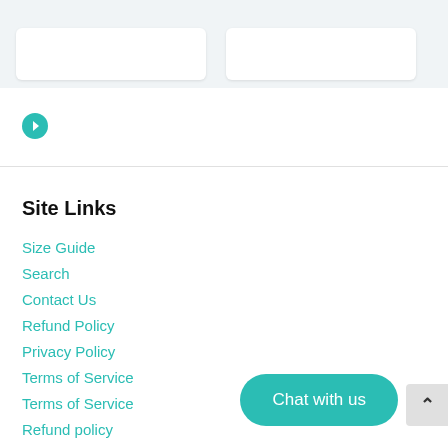[Figure (screenshot): Two white card elements at top of page on light gray background]
[Figure (illustration): Teal circular arrow/next icon button]
Site Links
Size Guide
Search
Contact Us
Refund Policy
Privacy Policy
Terms of Service
Terms of Service
Refund policy
[Figure (illustration): Teal rounded pill-shaped Chat with us button]